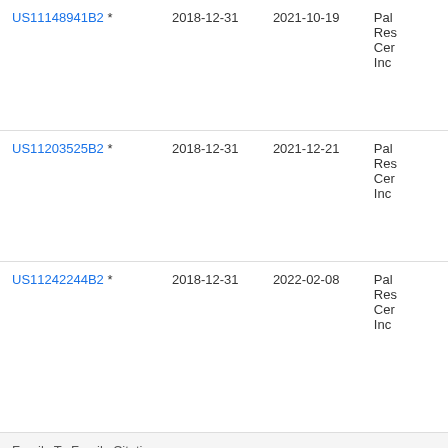| Patent | Filed | Published | Assignee |
| --- | --- | --- | --- |
| US11148941B2 * | 2018-12-31 | 2021-10-19 | Pal... Res... Cer... Inc... |
| US11203525B2 * | 2018-12-31 | 2021-12-21 | Pal... Res... Cer... Inc... |
| US11242244B2 * | 2018-12-31 | 2022-02-08 | Pal... Res... Cer... Inc... |
| Family To Family Citations |  |  |  |
| US10558204B2 * | 2016-09-19 | 2020-02-11 | Pal... Res... Cer... Inc... |